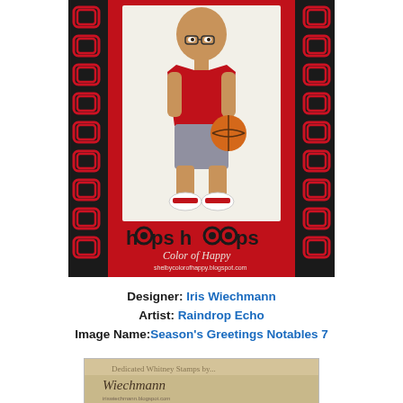[Figure (illustration): Handmade greeting card featuring a cartoon bald boy in a red basketball jersey and grey shorts holding a basketball, set against a red background with black and red decorative borders featuring repeated 'O' shapes. The bottom reads 'hoops hoops' in stylized text with 'Color of Happy' and a blog URL.]
Designer: Iris Wiechmann
Artist: Raindrop Echo
Image Name: Season's Greetings Notables 7
[Figure (photo): Partial view of another handmade card with tan/kraft background, showing script text 'Wiechmann' and a blog URL, partially cropped at bottom of page.]